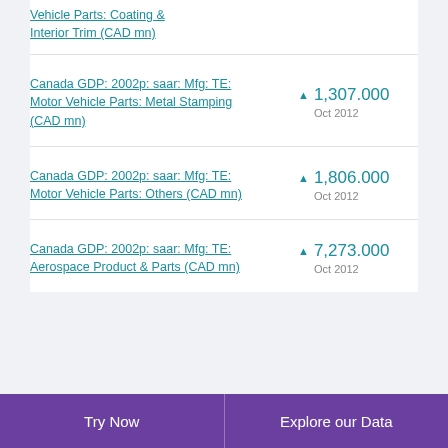Vehicle Parts: Coating & Interior Trim (CAD mn)
Canada GDP: 2002p: saar: Mfg: TE: Motor Vehicle Parts: Metal Stamping (CAD mn)
Canada GDP: 2002p: saar: Mfg: TE: Motor Vehicle Parts: Others (CAD mn)
Canada GDP: 2002p: saar: Mfg: TE: Aerospace Product & Parts (CAD mn)
Try Now | Explore our Data